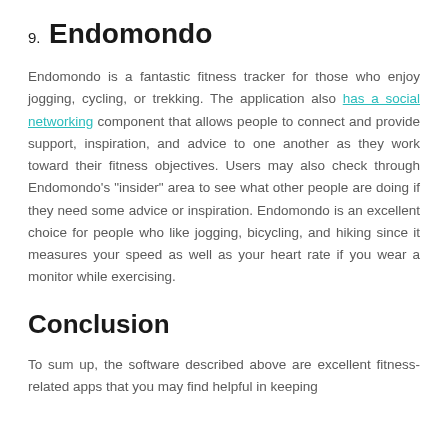9. Endomondo
Endomondo is a fantastic fitness tracker for those who enjoy jogging, cycling, or trekking. The application also has a social networking component that allows people to connect and provide support, inspiration, and advice to one another as they work toward their fitness objectives. Users may also check through Endomondo’s “insider” area to see what other people are doing if they need some advice or inspiration. Endomondo is an excellent choice for people who like jogging, bicycling, and hiking since it measures your speed as well as your heart rate if you wear a monitor while exercising.
Conclusion
To sum up, the software described above are excellent fitness-related apps that you may find helpful in keeping